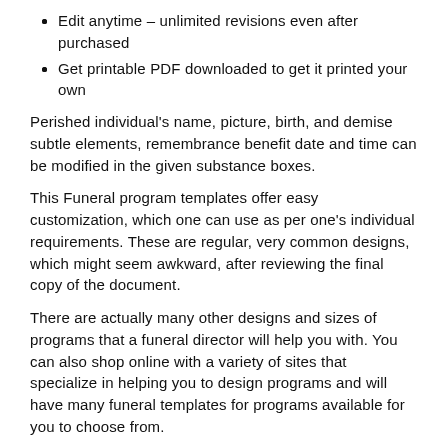Edit anytime – unlimited revisions even after purchased
Get printable PDF downloaded to get it printed your own
Perished individual's name, picture, birth, and demise subtle elements, remembrance benefit date and time can be modified in the given substance boxes.
This Funeral program templates offer easy customization, which one can use as per one's individual requirements. These are regular, very common designs, which might seem awkward, after reviewing the final copy of the document.
There are actually many other designs and sizes of programs that a funeral director will help you with. You can also shop online with a variety of sites that specialize in helping you to design programs and will have many funeral templates for programs available for you to choose from.
The following information notes the information that is included when writing an obituary for a funeral program.